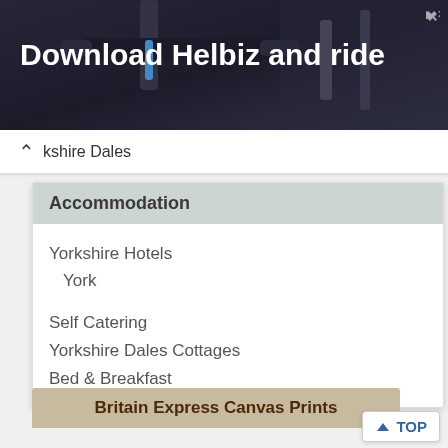[Figure (photo): Advertisement banner for Helbiz scooter app with dark background showing bicycle/scooter handlebars]
Download Helbiz and ride
kshire Dales
Accommodation
Yorkshire Hotels
York
Self Catering
Yorkshire Dales Cottages
Bed & Breakfast
Britain Express Canvas Prints
TOP